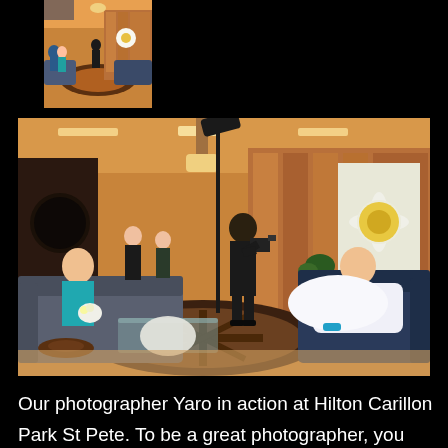[Figure (photo): Small thumbnail photo of a hotel lobby scene with people, furniture, and warm lighting — same scene as the main photo below]
[Figure (photo): Photographer Yaro in action at Hilton Carillon Park St Pete. A man dressed in black holds a camera and shoots, standing on a decorative circular floor feature. A bride in a white gown reclines on a blue sofa on the right. A bridesmaid in a teal dress sits on a sofa on the left holding flowers. Other people stand in the background. A large flower artwork is on the wall. Warm wood-paneled lobby interior with recessed lighting and a tall light stand.]
Our photographer Yaro in action at Hilton Carillon Park St Pete. To be a great photographer, you have to be good at “multi-tasking”. You have be able to